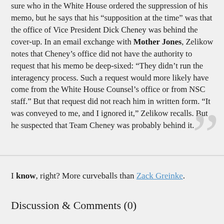sure who in the White House ordered the suppression of his memo, but he says that his “supposition at the time” was that the office of Vice President Dick Cheney was behind the cover-up. In an email exchange with Mother Jones, Zelikow notes that Cheney’s office did not have the authority to request that his memo be deep-sixed: “They didn’t run the interagency process. Such a request would more likely have come from the White House Counsel’s office or from NSC staff.” But that request did not reach him in written form. “It was conveyed to me, and I ignored it,” Zelikow recalls. But he suspected that Team Cheney was probably behind it.
I know, right? More curveballs than Zack Greinke.
Discussion & Comments (0)